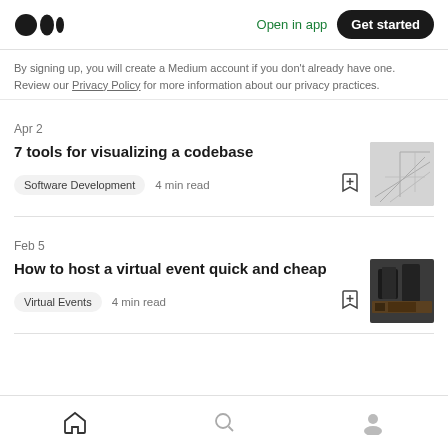Medium logo | Open in app | Get started
By signing up, you will create a Medium account if you don't already have one. Review our Privacy Policy for more information about our privacy practices.
Apr 2
7 tools for visualizing a codebase
Software Development  4 min read
[Figure (photo): Architectural blueprint or technical drawing, light gray tones]
Feb 5
How to host a virtual event quick and cheap
Virtual Events  4 min read
[Figure (photo): Dark computer/server equipment on a desk]
Home | Search | Profile